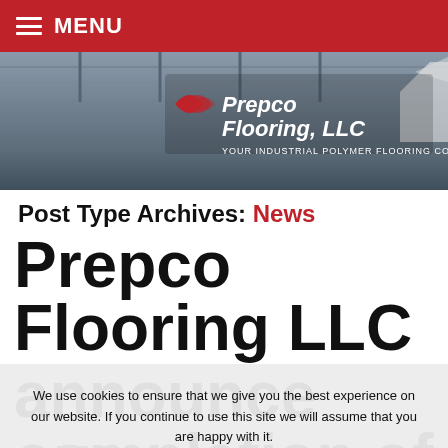MENU
[Figure (photo): Prepco Flooring LLC banner image showing interior of an industrial building with the Prepco Flooring LLC logo and tagline YOUR INDUSTRIAL POLYMER FLOORING COMPANY]
Post Type Archives: News
Prepco Flooring LLC is proud to announce our completion of the United States
We use cookies to ensure that we give you the best experience on our website. If you continue to use this site we will assume that you are happy with it. Ok